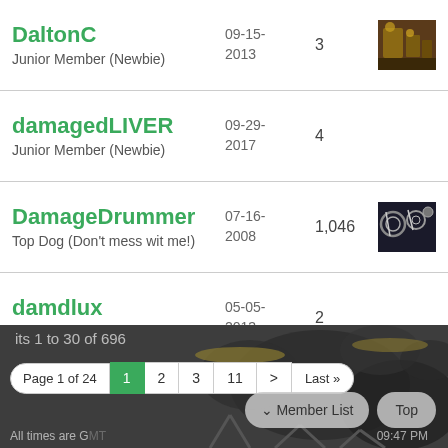DaltonC | Junior Member (Newbie) | 09-15-2013 | 3
damagedLIVER | Junior Member (Newbie) | 09-29-2017 | 4
DamageDrummer | Top Dog (Don't mess wit me!) | 07-16-2008 | 1,046
damdlux | Junior Member (Newbie) | 05-05-2013 | 2
its 1 to 30 of 696
Page 1 of 24  1  2  3  11  >  Last >>
Member List   Top
All times are GMT   09:47 PM